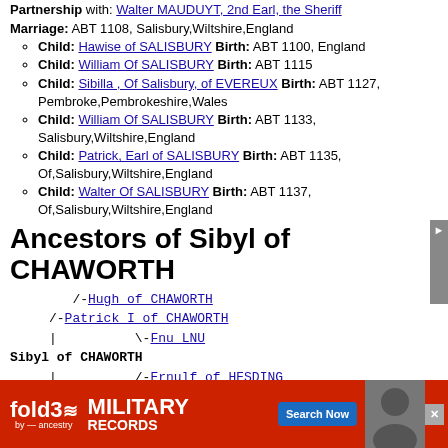Partnership with: Walter MAUDUYT, 2nd Earl, the Sheriff
Marriage: ABT 1108, Salisbury,Wiltshire,England
Child: Hawise of SALISBURY Birth: ABT 1100, England
Child: William Of SALISBURY Birth: ABT 1115
Child: Sibilla , Of Salisbury, of EVEREUX Birth: ABT 1127, Pembroke,Pembrokeshire,Wales
Child: William Of SALISBURY Birth: ABT 1133, Salisbury,Wiltshire,England
Child: Patrick, Earl of SALISBURY Birth: ABT 1135, Of,Salisbury,Wiltshire,England
Child: Walter Of SALISBURY Birth: ABT 1137, Of,Salisbury,Wiltshire,England
Ancestors of Sibyl of CHAWORTH
[Figure (other): Ancestry tree diagram showing: /-Hugh of CHAWORTH, /-Patrick I of CHAWORTH, | \-Fnu LNU, Sibyl of CHAWORTH, | /-Ernulf of HESDING, \-Matilda Maud of HESDING]
[Figure (other): fold3 Military Records advertisement banner with Search Now button]